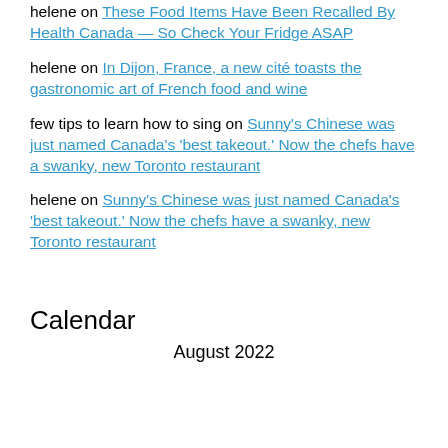helene on These Food Items Have Been Recalled By Health Canada — So Check Your Fridge ASAP
helene on In Dijon, France, a new cité toasts the gastronomic art of French food and wine
few tips to learn how to sing on Sunny's Chinese was just named Canada's 'best takeout.' Now the chefs have a swanky, new Toronto restaurant
helene on Sunny's Chinese was just named Canada's 'best takeout.' Now the chefs have a swanky, new Toronto restaurant
Calendar
August 2022